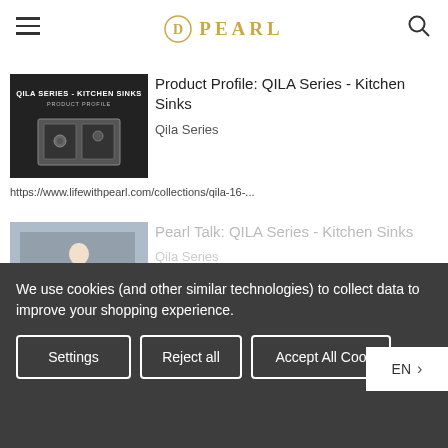Pearl
[Figure (screenshot): Thumbnail for QILA Series Kitchen Sinks product profile video showing a kitchen sink on dark background with text overlay 'QILA SERIES - KITCHEN SINKS PRODUCT PROFILE']
Product Profile: QILA Series - Kitchen Sinks
Qila Series
https://www.lifewithpearl.com/collections/qila-16-...
[Figure (screenshot): Thumbnail for Pearl Talk QILA Series Kitchen Sinks video showing a man in blue shirt at a desk, with 'PEARL TALK' and 'QILA SERIES - KITCHEN SINKS' label overlay]
Pearl Talk: QILA Series - Kitchen Sinks
Qila Series
We use cookies (and other similar technologies) to collect data to improve your shopping experience.
Settings | Reject all | Accept All Cookies
EN